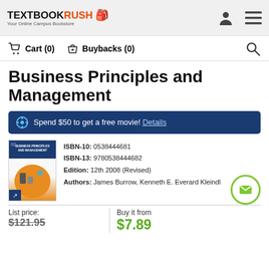TEXTBOOKRUSH - Your Online Campus Bookstore
Cart (0)   Buybacks (0)
Business Principles and Management
Spend $50 to get a free movie! Details
ISBN-10: 0538444681
ISBN-13: 9780538444682
Edition: 12th 2008 (Revised)
Authors: James Burrow, Kenneth E. Everard Kleindl
List price:
$121.95
Buy it from
$7.89